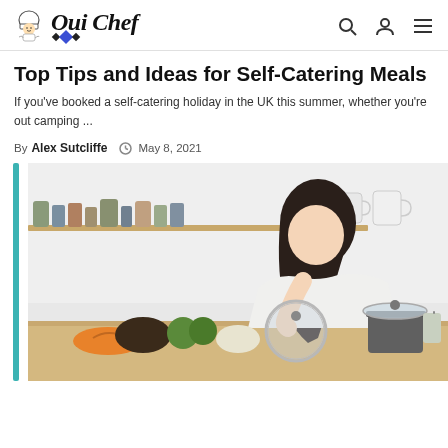Oui Chef
Top Tips and Ideas for Self-Catering Meals
If you've booked a self-catering holiday in the UK this summer, whether you're out camping ...
By Alex Sutcliffe  May 8, 2021
[Figure (photo): Woman in white blouse leaning over kitchen counter, lifting a glass pot lid, with vegetables and spices in the background on shelves]